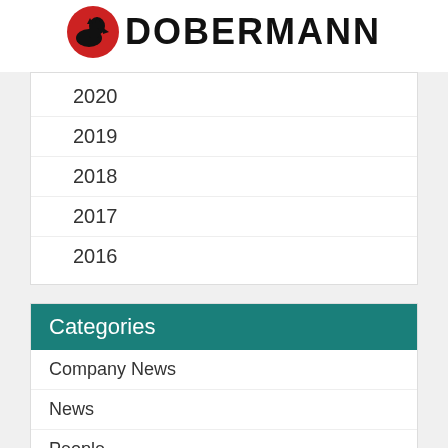[Figure (logo): Dobermann company logo with red circle and black Doberman dog silhouette, next to bold text DOBERMANN]
2020
2019
2018
2017
2016
Categories
Company News
News
People